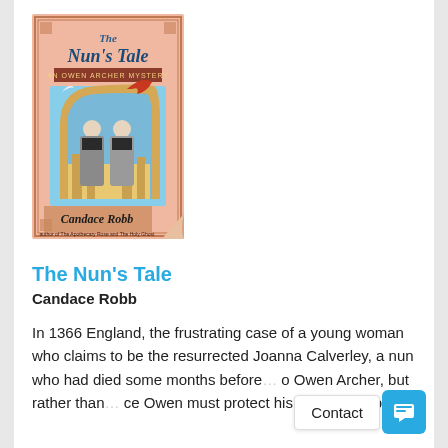[Figure (illustration): Book cover of 'The Nun's Tale: An Owen Archer Mystery' by Candace Robb. Pink cover with medieval illuminated artwork depicting two nuns in grey habits standing beneath an ornate arch, with a dragon and bird above. Author name 'Candace Robb' in decorative lettering at bottom. The top right corner of the cover is folded/curled.]
The Nun's Tale
Candace Robb
In 1366 England, the frustrating case of a young woman who claims to be the resurrected Joanna Calverley, a nun who had died some months before… to Owen Archer, but rather than… ce Owen must protect his wife and unborn